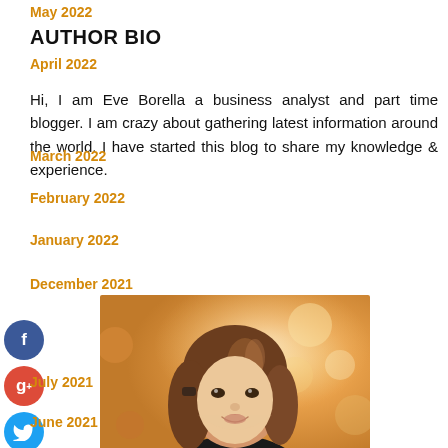May 2022
AUTHOR BIO
April 2022
Hi, I am Eve Borella a business analyst and part time blogger. I am crazy about gathering latest information around the world. I have started this blog to share my knowledge & experience.
March 2022
February 2022
January 2022
December 2021
[Figure (photo): Portrait photo of Eve Borella, a woman with medium-length brown hair, smiling, wearing a black top, with a warm bokeh outdoor background]
July 2021
June 2021